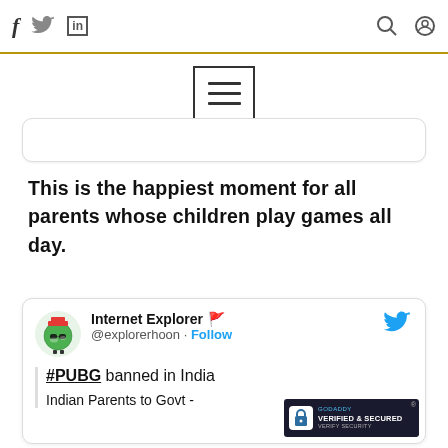f [twitter] in [search] [user]
[Figure (screenshot): Hamburger menu icon (three horizontal bars) inside a square border, centered on page]
This is the happiest moment for all parents whose children play games all day.
[Figure (screenshot): Embedded tweet from Internet Explorer (@explorerhoon): '#PUBG banned in India – Indian Parents to Govt -' with GoDaddy Verified & Secured badge in corner]